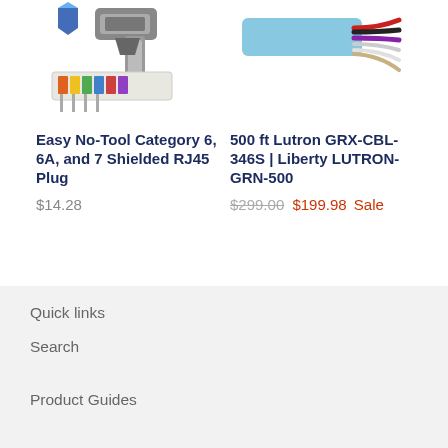[Figure (photo): Product image of Easy No-Tool Category 6, 6A, and 7 Shielded RJ45 Plug tool and connector]
[Figure (photo): Product image of 500 ft Lutron GRX-CBL-346S Liberty LUTRON-GRN-500 cable with multiple colored wires]
Easy No-Tool Category 6, 6A, and 7 Shielded RJ45 Plug
$14.28
500 ft Lutron GRX-CBL-346S | Liberty LUTRON-GRN-500
$299.00 $199.98 Sale
Quick links
Search
Product Guides